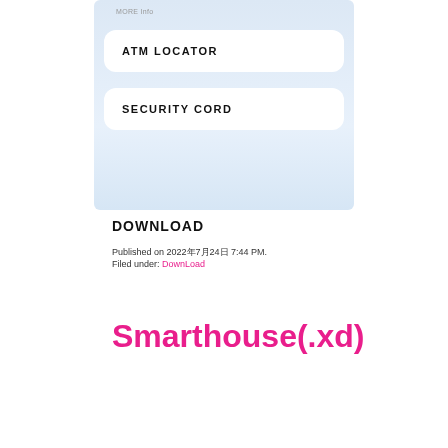[Figure (screenshot): Mobile app screenshot showing a light blue interface with two white rounded buttons labeled 'ATM LOCATOR' and 'SECURITY CORD', with a 'MORE Info' label at the top]
DOWNLOAD
Published on 2022年7月24日 7:44 PM.
Filed under: DownLoad
Smarthouse(.xd)